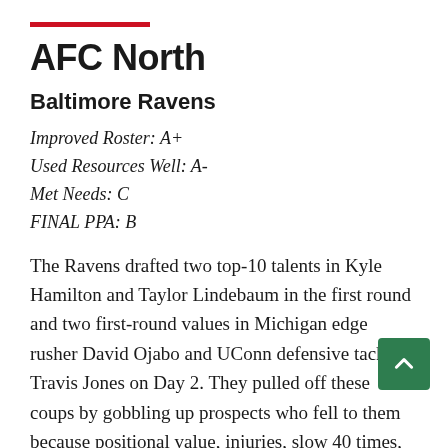AFC North
Baltimore Ravens
Improved Roster: A+
Used Resources Well: A-
Met Needs: C
FINAL PPA: B
The Ravens drafted two top-10 talents in Kyle Hamilton and Taylor Lindebaum in the first round and two first-round values in Michigan edge rusher David Ojabo and UConn defensive tackle Travis Jones on Day 2. They pulled off these coups by gobbling up prospects who fell to them because positional value, injuries, slow 40 times, or size concerns, and by remaining patient while other teams panicked and traded three years of assets to draft potential WR2s. They then made 1978